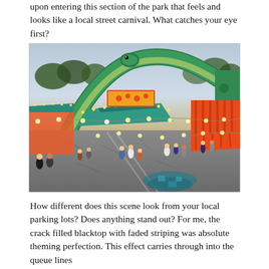upon entering this section of the park that feels and feels like a local street carnival. What catches your eye first?
[Figure (photo): Aerial/elevated view of a theme park area resembling a street carnival, with a large green dinosaur/brachiosaurus statue spanning overhead, colorful booths with teal/red striped roofs, string lights with globe bulbs, visitors walking on a cracked blacktop surface, and bright carnival-style signage and decorations.]
How different does this scene look from your local parking lots?  Does anything stand out?  For me, the crack filled blacktop with faded striping was absolute theming perfection.  This effect carries through into the queue lines